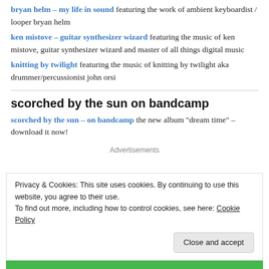bryan helm – my life in sound featuring the work of ambient keyboardist / looper bryan helm
ken mistove – guitar synthesizer wizard featuring the music of ken mistove, guitar synthesizer wizard and master of all things digital music
knitting by twilight featuring the music of knitting by twilight aka drummer/percussionist john orsi
scorched by the sun on bandcamp
scorched by the sun – on bandcamp the new album "dream time" – download it now!
Advertisements
Privacy & Cookies: This site uses cookies. By continuing to use this website, you agree to their use.
To find out more, including how to control cookies, see here: Cookie Policy